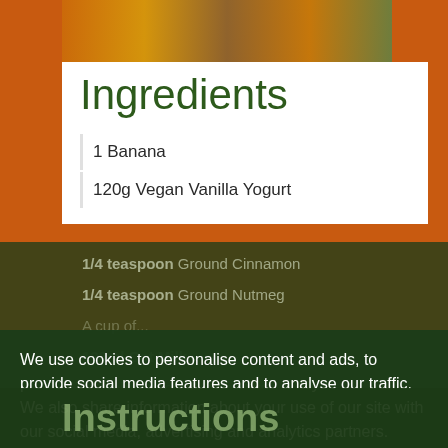[Figure (photo): Food photography showing autumn spices, pumpkin seeds and ingredients at the top of the page]
Ingredients
1 Banana
120g Vegan Vanilla Yogurt
1/4 teaspoon Ground Cinnamon
1/4 teaspoon Ground Nutmeg
120ml Oat Milk
1-2 tablespoons Maple Syrup
150g Pumpkin Puree
We use cookies to personalise content and ads, to provide social media features and to analyse our traffic. We also share information about your use of our site with our social media, advertising and analytics partners.
Cookie Policy
Cookie Settings
✓ Accept Cookies
Instructions